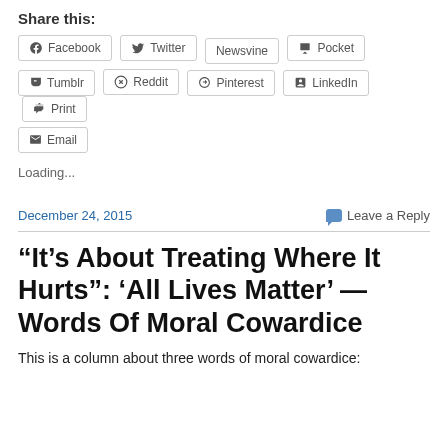Share this:
Facebook
Twitter
Newsvine
Pocket
Tumblr
Reddit
Pinterest
LinkedIn
Print
Email
Loading...
December 24, 2015    Leave a Reply
“It’s About Treating Where It Hurts”: ‘All Lives Matter’ — Words Of Moral Cowardice
This is a column about three words of moral cowardice: